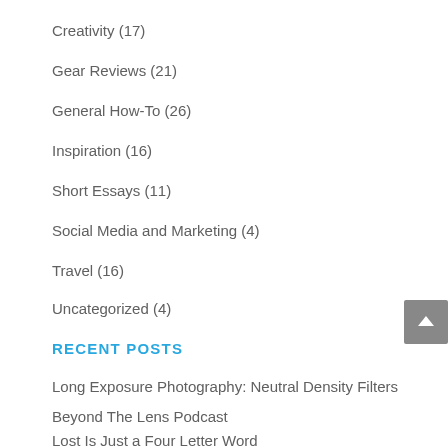Creativity (17)
Gear Reviews (21)
General How-To (26)
Inspiration (16)
Short Essays (11)
Social Media and Marketing (4)
Travel (16)
Uncategorized (4)
RECENT POSTS
Long Exposure Photography: Neutral Density Filters
Beyond The Lens Podcast
Lost Is Just a Four Letter Word